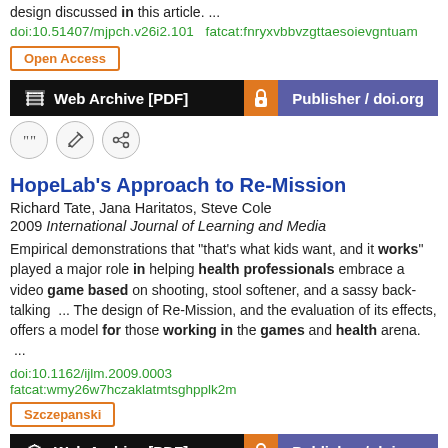design discussed in this article.  ...
doi:10.51407/mjpch.v26i2.101  fatcat:fnryxvbbvzgttaesoievgntuam
Open Access
[Figure (other): Web Archive [PDF] and Publisher / doi.org buttons]
[Figure (other): Three icon buttons: cite, edit, link]
HopeLab's Approach to Re-Mission
Richard Tate, Jana Haritatos, Steve Cole
2009 International Journal of Learning and Media
Empirical demonstrations that "that's what kids want, and it works" played a major role in helping health professionals embrace a video game based on shooting, stool softener, and a sassy back-talking  ...  The design of Re-Mission, and the evaluation of its effects, offers a model for those working in the games and health arena.  ...
doi:10.1162/ijlm.2009.0003
fatcat:wmy26w7hczaklatmtsghpplk2m
Szczepanski
[Figure (other): Web Archive [PDF] and Publisher / doi.org buttons]